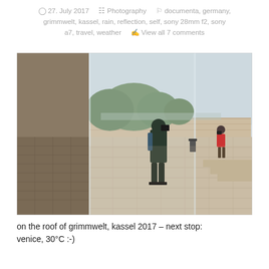27. July 2017   Photography   documenta, germany, grimmwelt, kassel, rain, reflection, self, sony 28mm f2, sony a7, travel, weather   View all 7 comments
[Figure (photo): A photographer taking a self-portrait in a large glass installation on the roof of Grimmwelt museum in Kassel. The glass panels create a reflection effect showing the photographer in a rain jacket with camera, with trees and landscape visible in the background. Another person in a red jacket is visible to the right. The terrace has stone flooring and steps.]
on the roof of grimmwelt, kassel 2017 – next stop: venice, 30°C :-)